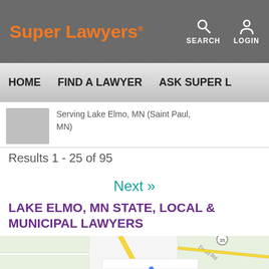Super Lawyers®  SEARCH  LOGIN
HOME   FIND A LAWYER   ASK SUPER L…
Serving Lake Elmo, MN (Saint Paul, MN)
Results 1 - 25 of 95
Next »
LAKE ELMO, MN STATE, LOCAL & MUNICIPAL LAWYERS
[Figure (map): Google Maps view of Lake Elmo, MN area showing roads including Dodd Rd and highway 35]